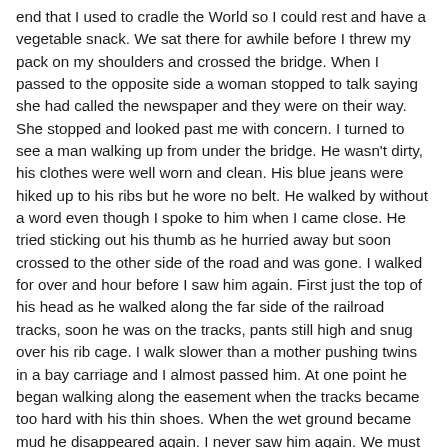end that I used to cradle the World so I could rest and have a vegetable snack. We sat there for awhile before I threw my pack on my shoulders and crossed the bridge. When I passed to the opposite side a woman stopped to talk saying she had called the newspaper and they were on their way. She stopped and looked past me with concern. I turned to see a man walking up from under the bridge. He wasn't dirty, his clothes were well worn and clean. His blue jeans were hiked up to his ribs but he wore no belt. He walked by without a word even though I spoke to him when I came close. He tried sticking out his thumb as he hurried away but soon crossed to the other side of the road and was gone. I walked for over and hour before I saw him again. First just the top of his head as he walked along the far side of the railroad tracks, soon he was on the tracks, pants still high and snug over his rib cage. I walk slower than a mother pushing twins in a bay carriage and I almost passed him. At one point he began walking along the easement when the tracks became too hard with his thin shoes. When the wet ground became mud he disappeared again. I never saw him again. We must have walked just yards from one another for three miles without a word. The only times he looked my way